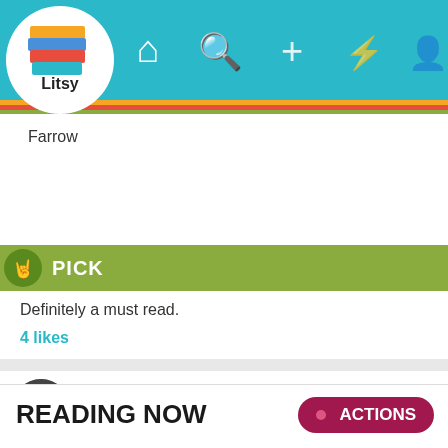[Figure (screenshot): Litsy app logo with stacked colorful books and text 'Litsy']
Litsy app navigation bar with home, search, plus, activity, and profile icons
Farrow
PICK
Definitely a must read.
4 likes
Circlejxrk
Catch and Kill: Lies, Spies, and a Conspiracy to Protect Predators | Ronan Farrow
READING NOW
ACTIONS